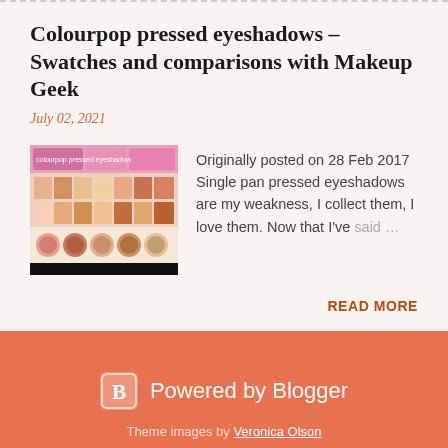Colourpop pressed eyeshadows – Swatches and comparisons with Makeup Geek
July 02, 2021
[Figure (photo): Photo of Colourpop pressed eyeshadow palettes]
Originally posted on 28 Feb 2017 Single pan pressed eyeshadows are my weakness, I collect them, I love them. Now that I've said …
READ MORE
Powered by Blogger
Theme images by Veronica Olson
Alice's Beauty Madness